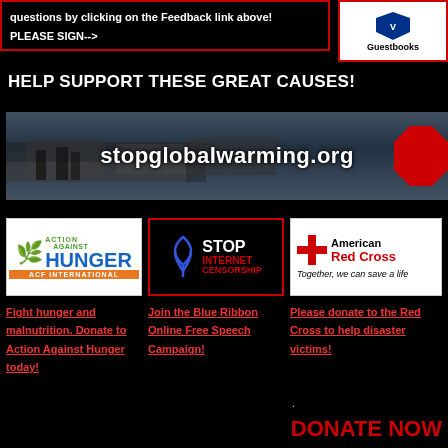questions by clicking on the Feedback link above! PLEASE SIGN-->
[Figure (logo): Guestbooks logo button]
HELP SUPPORT THESE GREAT CAUSES!
[Figure (photo): stopglobalwarming.org banner with cars and people on street]
[Figure (logo): Action Against Hunger ACF International logo]
Fight hunger and malnutrition. Donate to Action Against Hunger today!
[Figure (logo): Stop Internet Censorship blue ribbon logo]
Join the Blue Ribbon Online Free Speech Campaign!
[Figure (logo): American Red Cross logo - Together, we can save a life]
Please donate to the Red Cross to help disaster victims!
DONATE NOW